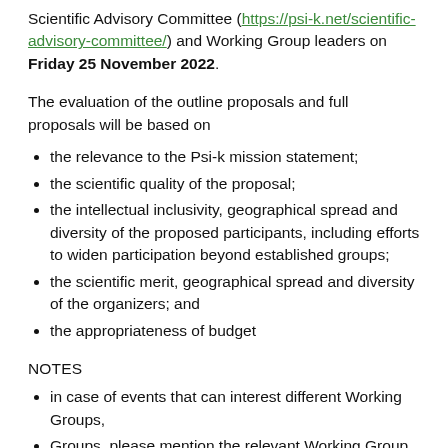Scientific Advisory Committee (https://psi-k.net/scientific-advisory-committee/) and Working Group leaders on Friday 25 November 2022.
The evaluation of the outline proposals and full proposals will be based on
the relevance to the Psi-k mission statement;
the scientific quality of the proposal;
the intellectual inclusivity, geographical spread and diversity of the proposed participants, including efforts to widen participation beyond established groups;
the scientific merit, geographical spread and diversity of the organizers; and
the appropriateness of budget
NOTES
in case of events that can interest different Working Groups, please mention the relevant Working Groups at the
Groups, please mention the relevant Working Group and the